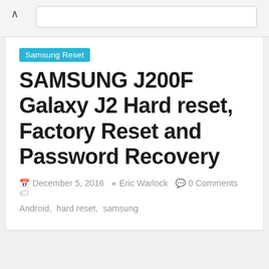Samsung Reset
SAMSUNG J200F Galaxy J2 Hard reset, Factory Reset and Password Recovery
December 5, 2016  Eric Warlock  0 Comments  Android, hard reset, samsung